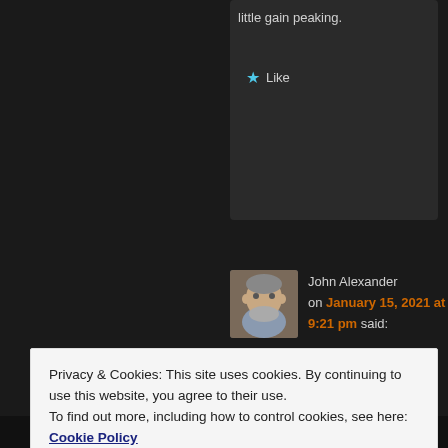little gain peaking.
Like
John Alexander on January 15, 2021 at 9:21 pm said:
I was unaware that anyone was still doing imaging in point contact. Back in 1986 and 87 people were reporting anomalously large
Privacy & Cookies: This site uses cookies. By continuing to use this website, you agree to their use.
To find out more, including how to control cookies, see here: Cookie Policy
Close and accept
contact with the surface; not